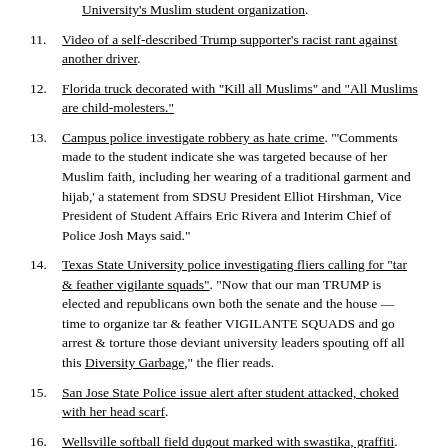University's Muslim student organization.
11. Video of a self-described Trump supporter's racist rant against another driver.
12. Florida truck decorated with "Kill all Muslims" and "All Muslims are child-molesters."
13. Campus police investigate robbery as hate crime. "'Comments made to the student indicate she was targeted because of her Muslim faith, including her wearing of a traditional garment and hijab,' a statement from SDSU President Elliot Hirshman, Vice President of Student Affairs Eric Rivera and Interim Chief of Police Josh Mays said."
14. Texas State University police investigating fliers calling for "tar & feather vigilante squads". "Now that our man TRUMP is elected and republicans own both the senate and the house — time to organize tar & feather VIGILANTE SQUADS and go arrest & torture those deviant university leaders spouting off all this Diversity Garbage," the flier reads.
15. San Jose State Police issue alert after student attacked, choked with her head scarf.
16. Wellsville softball field dugout marked with swastika, graffiti. "Make America White Again"
There are so, so many more reports out there of people being harassed and attacked. I could spend all weekend adding to this list of documented